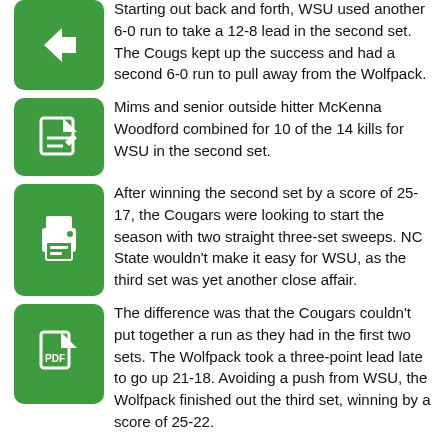Starting out back and forth, WSU used another 6-0 run to take a 12-8 lead in the second set. The Cougs kept up the success and had a second 6-0 run to pull away from the Wolfpack.
Mims and senior outside hitter McKenna Woodford combined for 10 of the 14 kills for WSU in the second set.
After winning the second set by a score of 25-17, the Cougars were looking to start the season with two straight three-set sweeps. NC State wouldn't make it easy for WSU, as the third set was yet another close affair.
The difference was that the Cougars couldn't put together a run as they had in the first two sets. The Wolfpack took a three-point lead late to go up 21-18. Avoiding a push from WSU, the Wolfpack finished out the third set, winning by a score of 25-22.
WSU quickly returned to form in the third set as the team started the fourth set out with a 5-3 lead. The Cougs continued as they then went on a 9-0 run to pull away from the Wolfpack.
WSU won the fourth and final set by a final score of 25-8, completing the nearly-perfect weekend and winning both matches it played.
Woodford came away with player of the match honors as she tied for the match high with 15 kills. Mims Woodford also had all...